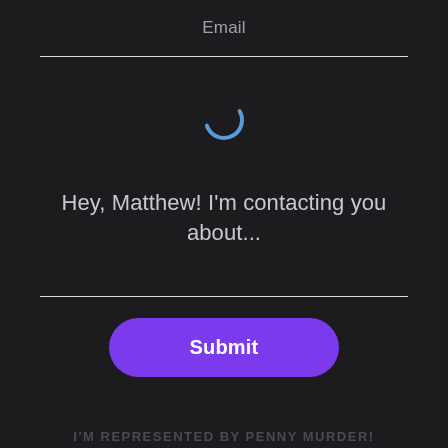Email
[Figure (other): Blue spinning/loading arc indicator]
Hey, Matthew! I'm contacting you about...
Submit
I'M REPRESENTED BY PENNY MURDER!